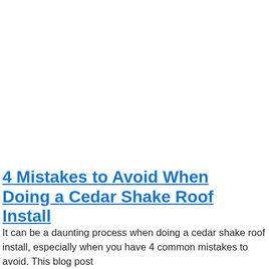4 Mistakes to Avoid When Doing a Cedar Shake Roof Install
It can be a daunting process when doing a cedar shake roof install, especially when you have 4 common mistakes to avoid. This blog post